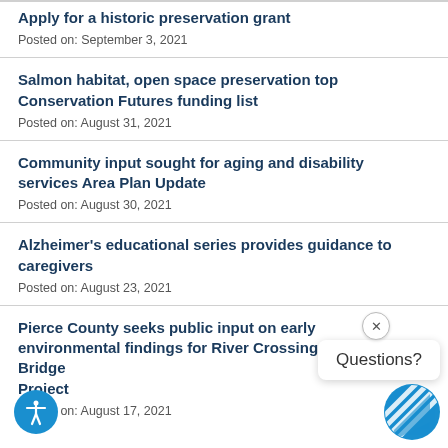Apply for a historic preservation grant
Posted on: September 3, 2021
Salmon habitat, open space preservation top Conservation Futures funding list
Posted on: August 31, 2021
Community input sought for aging and disability services Area Plan Update
Posted on: August 30, 2021
Alzheimer's educational series provides guidance to caregivers
Posted on: August 23, 2021
Pierce County seeks public input on early environmental findings for River Crossing Bridge Project
Posted on: August 17, 2021